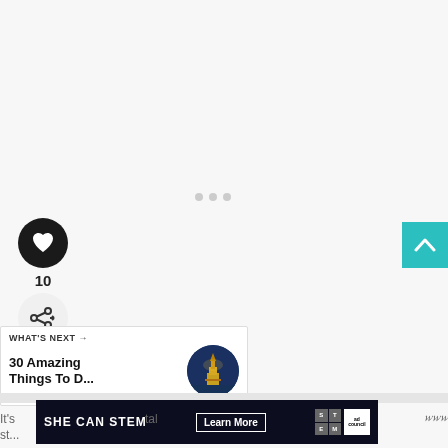[Figure (other): Dot carousel indicators (3 grey dots) in center of page]
[Figure (other): Black circular like/heart button with white heart icon, showing count of 10 below, and a share icon button below that]
[Figure (other): Teal scroll-to-top button with white upward chevron on right edge]
[Figure (other): What's Next widget showing '30 Amazing Things To D...' with circular thumbnail of illuminated temple]
[Figure (other): SHE CAN STEM advertisement banner with Learn More button, STEM logo grid, and Ad Council logo on dark background]
It's ... tal
st...